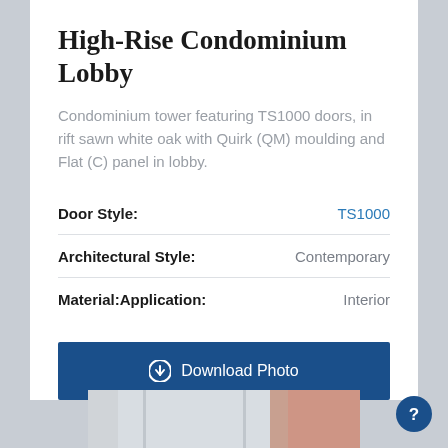High-Rise Condominium Lobby
Condominium tower featuring TS1000 doors, in rift sawn white oak with Quirk (QM) moulding and Flat (C) panel in lobby.
| Attribute | Value |
| --- | --- |
| Door Style: | TS1000 |
| Architectural Style: | Contemporary |
| Material:Application: | Interior |
Download Photo
[Figure (photo): Partial view of a door in a high-rise condominium lobby setting]